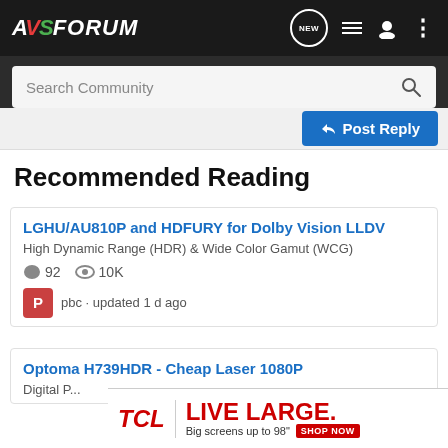AVS FORUM — navigation bar with search
Recommended Reading
LGHU/AU810P and HDFURY for Dolby Vision LLDV
High Dynamic Range (HDR) & Wide Color Gamut (WCG)
92 comments · 10K views · pbc · updated 1 d ago
Optoma H739HDR - Cheap Laser 1080P
Digital P...
[Figure (advertisement): TCL LIVE LARGE ad banner: Big screens up to 98" SHOP NOW]